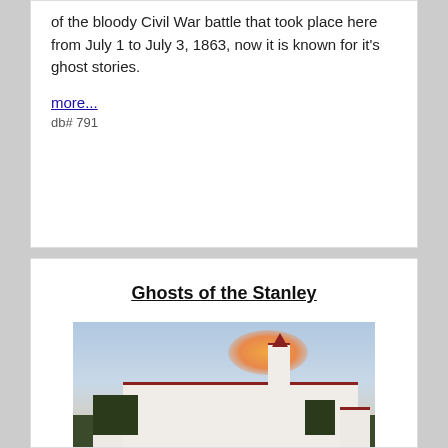of the bloody Civil War battle that took place here from July 1 to July 3, 1863, now it is known for it's ghost stories.
more...
db# 791
Ghosts of the Stanley
[Figure (photo): Photo of the Stanley Hotel, a large white building with red roof, photographed at dusk with an orange cloud in the sky behind it.]